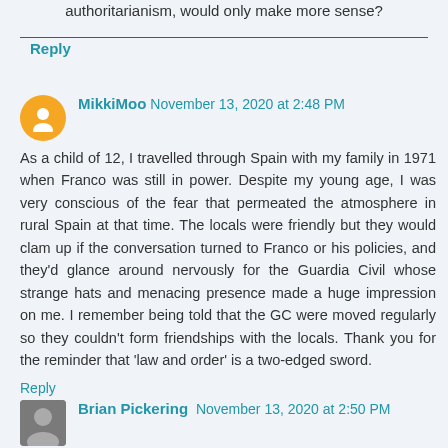authoritarianism, would only make more sense?
Reply
MikkiMoo November 13, 2020 at 2:48 PM
As a child of 12, I travelled through Spain with my family in 1971 when Franco was still in power. Despite my young age, I was very conscious of the fear that permeated the atmosphere in rural Spain at that time. The locals were friendly but they would clam up if the conversation turned to Franco or his policies, and they'd glance around nervously for the Guardia Civil whose strange hats and menacing presence made a huge impression on me. I remember being told that the GC were moved regularly so they couldn't form friendships with the locals. Thank you for the reminder that 'law and order' is a two-edged sword.
Reply
Brian Pickering November 13, 2020 at 2:50 PM